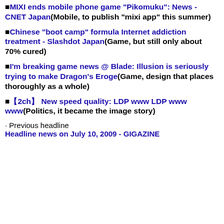■MIXI ends mobile phone game "Pikomuku": News - CNET Japan(Mobile, to publish "mixi app" this summer)
■Chinese "boot camp" formula Internet addiction treatment - Slashdot Japan(Game, but still only about 70% cured)
■I'm breaking game news @ Blade: Illusion is seriously trying to make Dragon's Eroge(Game, design that places thoroughly as a whole)
■【2ch】 New speed quality: LDP www LDP www www(Politics, it became the image story)
· Previous headline
Headline news on July 10, 2009 - GIGAZINE